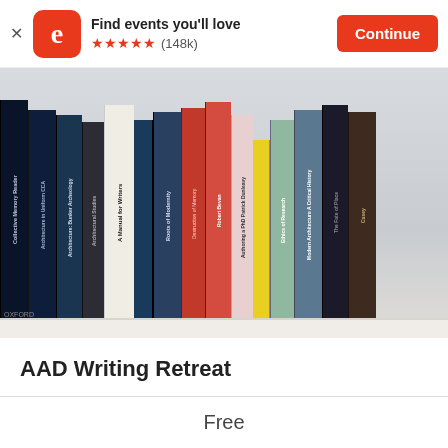Find events you'll love ★★★★★ (148k) Continue
[Figure (photo): A row of books on a shelf including titles: Collective Memory Reader, Architecture in Uniform, Architecture: Bunker Archeology, A Manual for Writers, Roots of Modernity, The Destruction of Memory by Robert Bevan, Authoring a PhD by Patrick Dunleavy, The Ethics of Research, Modern Architecture: A Critical History, The Fate of Place, and others]
AAD Writing Retreat
Free